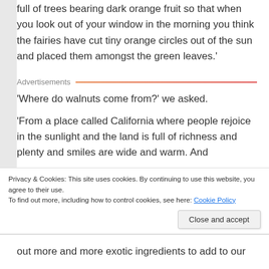full of trees bearing dark orange fruit so that when you look out of your window in the morning you think the fairies have cut tiny orange circles out of the sun and placed them amongst the green leaves.'
Advertisements
'Where do walnuts come from?' we asked.
'From a place called California where people rejoice in the sunlight and the land is full of richness and plenty and smiles are wide and warm. And
Privacy & Cookies: This site uses cookies. By continuing to use this website, you agree to their use.
To find out more, including how to control cookies, see here: Cookie Policy
Close and accept
out more and more exotic ingredients to add to our